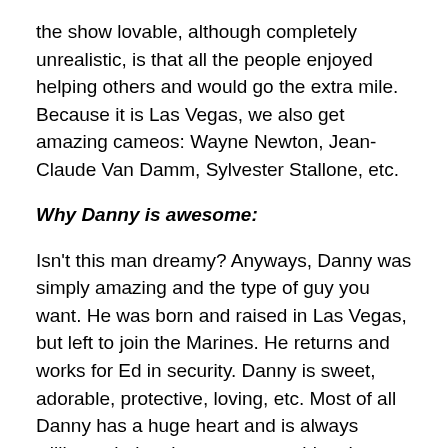the show lovable, although completely unrealistic, is that all the people enjoyed helping others and would go the extra mile. Because it is Las Vegas, we also get amazing cameos: Wayne Newton, Jean-Claude Van Damm, Sylvester Stallone, etc.
Why Danny is awesome:
Isn't this man dreamy? Anyways, Danny was simply amazing and the type of guy you want. He was born and raised in Las Vegas, but left to join the Marines. He returns and works for Ed in security. Danny is sweet, adorable, protective, loving, etc. Most of all Danny has a huge heart and is always willing to help others out, something that makes him almost fall for a scheme, like two women trying to take his father's inheritance. But even though he is sweet, you don't want to mess with him as he can just as